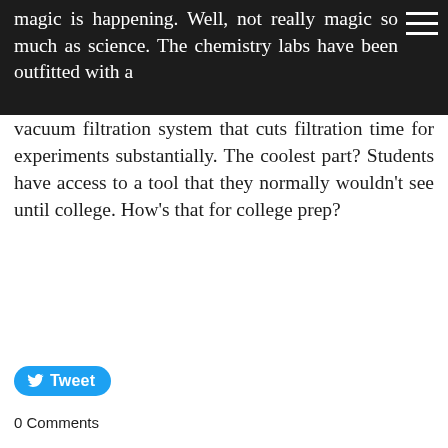magic is happening. Well, not really magic so much as science. The chemistry labs have been outfitted with a
vacuum filtration system that cuts filtration time for experiments substantially. The coolest part? Students have access to a tool that they normally wouldn't see until college. How's that for college prep?
[Figure (other): Blue Tweet button with Twitter bird icon]
0 Comments
As the Crow Flies
8/15/2019
0 Comments
The foundation footers have been dug for the new buildings that will connect Willis and Ellis Hall. You can literally see them take shape!